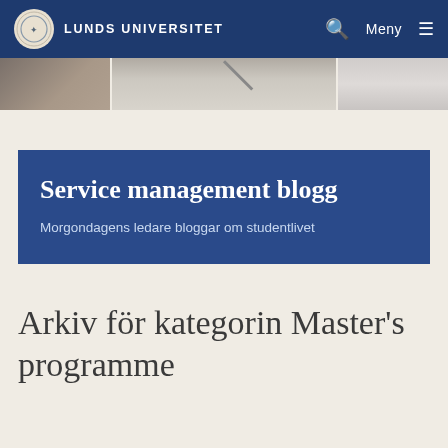Lunds Universitet | Meny
[Figure (photo): Hero banner image strip showing architectural elements and a person, split into three panels]
Service management blogg
Morgondagens ledare bloggar om studentlivet
Arkiv för kategorin Master's programme